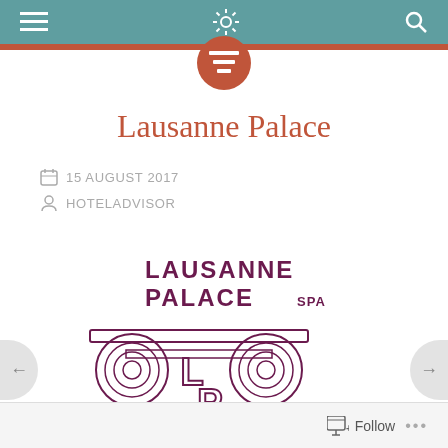Navigation bar with menu, settings, and search icons
[Figure (logo): Lausanne Palace Spa logo with ionic capital column design and text LAUSANNE PALACE SPA with LP monogram]
Lausanne Palace
15 AUGUST 2017
HOTELADVISOR
Follow ...